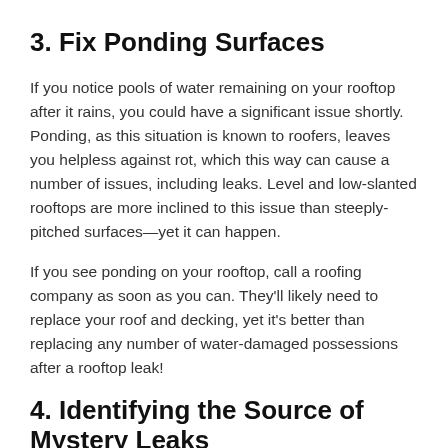3. Fix Ponding Surfaces
If you notice pools of water remaining on your rooftop after it rains, you could have a significant issue shortly. Ponding, as this situation is known to roofers, leaves you helpless against rot, which this way can cause a number of issues, including leaks. Level and low-slanted rooftops are more inclined to this issue than steeply-pitched surfaces—yet it can happen.
If you see ponding on your rooftop, call a roofing company as soon as you can. They'll likely need to replace your roof and decking, yet it's better than replacing any number of water-damaged possessions after a rooftop leak!
4. Identifying the Source of Mystery Leaks